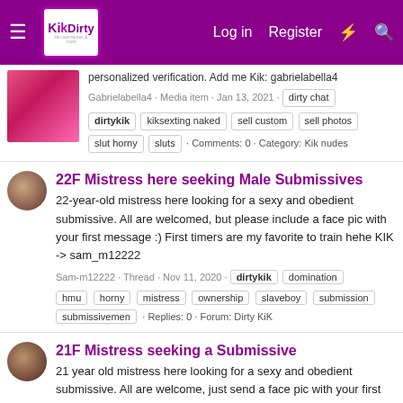KikDirty - Log in - Register
personalized verification. Add me Kik: gabrielabella4
Gabrielabella4 · Media item · Jan 13, 2021 · dirty chat dirtykik kiksexting naked sell custom sell photos slut horny sluts · Comments: 0 · Category: Kik nudes
22F Mistress here seeking Male Submissives
22-year-old mistress here looking for a sexy and obedient submissive. All are welcomed, but please include a face pic with your first message :) First timers are my favorite to train hehe KIK -> sam_m12222
Sam-m12222 · Thread · Nov 11, 2020 · dirtykik domination hmu horny mistress ownership slaveboy submission submissivemen · Replies: 0 · Forum: Dirty KiK
21F Mistress seeking a Submissive
21 year old mistress here looking for a sexy and obedient submissive. All are welcome, just send a face pic with your first message. First timers are my favorite (; Kik - sam_m12222
Sam-m12222 · Thread · Jan 3, 2021 · dirtykik ...